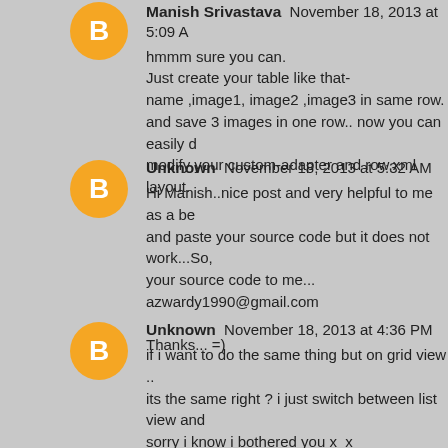Manish Srivastava · November 18, 2013 at 5:09 AM
hmmm sure you can.
Just create your table like that-
name ,image1, image2 ,image3 in same row.
and save 3 images in one row.. now you can easily d
modify your custom-adapter and row.xml layout.
Unknown November 18, 2013 at 5:32 AM
Hi Manish..nice post and very helpful to me as a be
and paste your source code but it does not work...So,
your source code to me...
azwardy1990@gmail.com

Thanks... =)
Unknown November 18, 2013 at 4:36 PM
if i want to do the same thing but on grid view ..
its the same right ? i just switch between list view and
sorry i know i bothered you x_x
but im new to android development and my applicatio
so im little nervous x_x